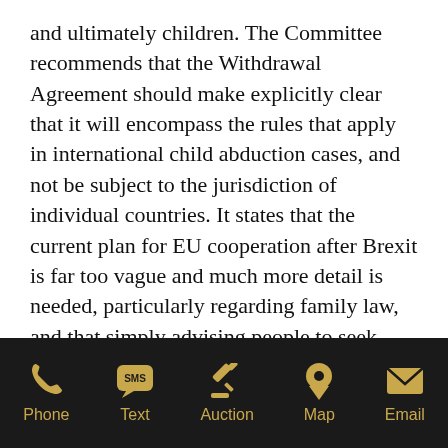and ultimately children. The Committee recommends that the Withdrawal Agreement should make explicitly clear that it will encompass the rules that apply in international child abduction cases, and not be subject to the jurisdiction of individual countries. It states that the current plan for EU cooperation after Brexit is far too vague and much more detail is needed, particularly regarding family law, and that simply advising people to seek legal advice is inadequate. Chairman of the Committee Baroness Kennedy of the Shaws said:
Phone  Text  Auction  Map  Email